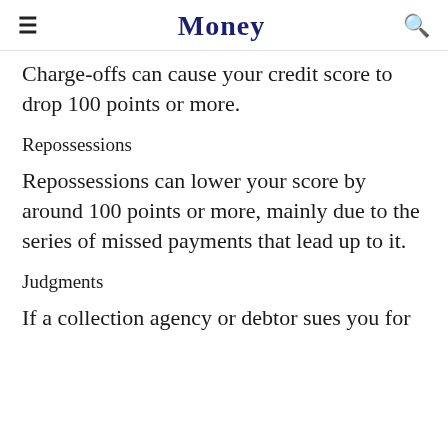Money
Charge-offs can cause your credit score to drop 100 points or more.
Repossessions
Repossessions can lower your score by around 100 points or more, mainly due to the series of missed payments that lead up to it.
Judgments
If a collection agency or debtor sues you for